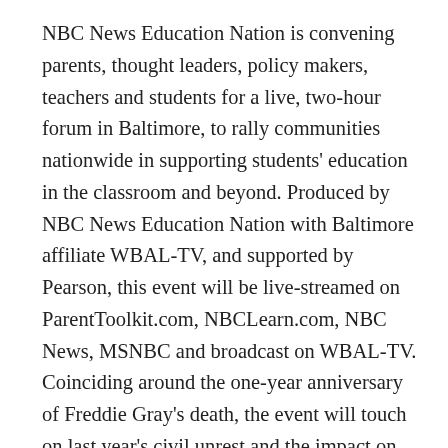NBC News Education Nation is convening parents, thought leaders, policy makers, teachers and students for a live, two-hour forum in Baltimore, to rally communities nationwide in supporting students' education in the classroom and beyond. Produced by NBC News Education Nation with Baltimore affiliate WBAL-TV, and supported by Pearson, this event will be live-streamed on ParentToolkit.com, NBCLearn.com, NBC News, MSNBC and broadcast on WBAL-TV. Coinciding around the one-year anniversary of Freddie Gray's death, the event will touch on last year's civil unrest and the impact on students in Baltimore, as well as broader issues faced by students across the U.S., such as access to healthy food options for low-income families, closing the achievement gap, and how to encourage students to pursue higher education. Each panel discussion will be moderated by NBC News Chief Education Correspondent Rehema Ellis, and will be kicked off by a video on TED Talk-style